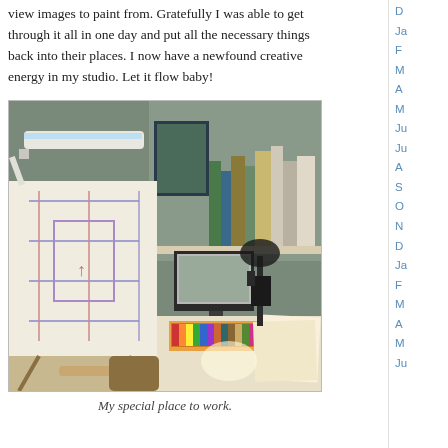view images to paint from. Gratefully I was able to get through it all in one day and put all the necessary things back into their places. I now have a newfound creative energy in my studio. Let it flow baby!
[Figure (photo): Artist's studio workspace showing an easel with a colorful sketch/painting in progress, a desk with art supplies including pastels, a computer monitor, lamp, books on shelves, and various art materials.]
My special place to work.